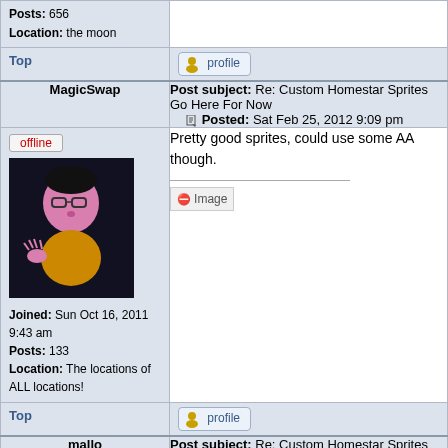Posts: 656
Location: the moon
Top
[Figure (other): Profile button with user icon]
MagicSwap
Post subject: Re: Custom Homestar Sprites Go Here For Now
Posted: Sat Feb 25, 2012 9:09 pm
offline
[Figure (illustration): Avatar image of a cartoon character with glasses and clawed hands on black background]
Joined: Sun Oct 16, 2011 9:43 am
Posts: 133
Location: The locations of ALL locations!
Pretty good sprites, could use some AA though.

[Image]
Top
[Figure (other): Profile button with user icon]
mallo
Post subject: Re: Custom Homestar Sprites Go Here For Now
Posted: Tue Jun 19, 2012 6:26 pm
offline
Nice sprites, but without walking sprites etc. game will be... BORING.